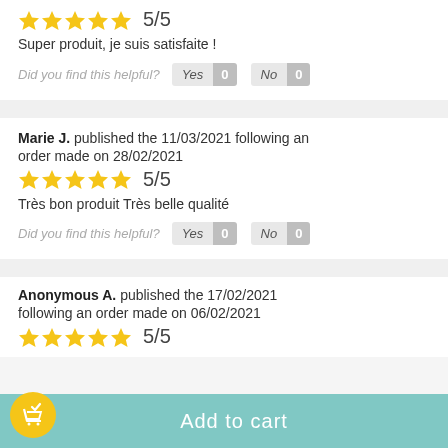5/5
Super produit, je suis satisfaite !
Did you find this helpful?  Yes 0  No 0
Marie J. published the 11/03/2021 following an order made on 28/02/2021
5/5
Très bon produit Très belle qualité
Did you find this helpful?  Yes 0  No 0
Anonymous A. published the 17/02/2021 following an order made on 06/02/2021
5/5
Add to cart